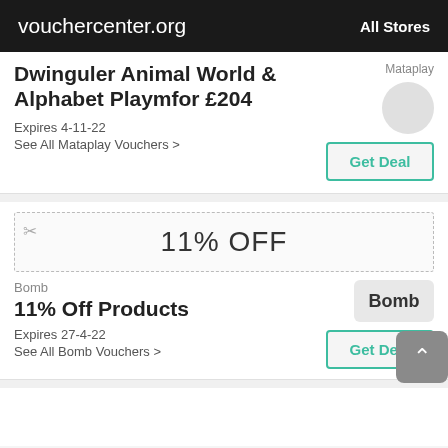vouchercenter.org | All Stores
Dwinguler Animal World & Alphabet Playmfor £204
Expires 4-11-22
See All Mataplay Vouchers >
[Figure (other): Get Deal button for Mataplay]
11% OFF
Bomb
11% Off Products
Expires 27-4-22
See All Bomb Vouchers >
[Figure (other): Get Deal button for Bomb, Bomb logo, back to top arrow button]